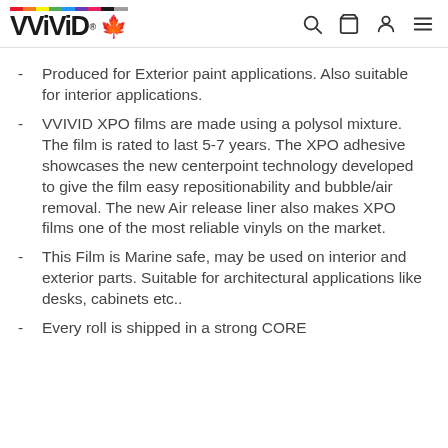VViViD® [logo with rainbow bar and maple leaf] [search icon] [cart icon] [user icon] [menu icon]
Produced for Exterior paint applications. Also suitable for interior applications.
VVIVID XPO films are made using a polysol mixture. The film is rated to last 5-7 years. The XPO adhesive showcases the new centerpoint technology developed to give the film easy repositionability and bubble/air removal. The new Air release liner also makes XPO films one of the most reliable vinyls on the market.
This Film is Marine safe, may be used on interior and exterior parts. Suitable for architectural applications like desks, cabinets etc..
Every roll is shipped in a strong CORE